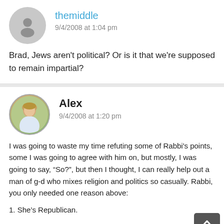themiddle
9/4/2008 at 1:04 pm
Brad, Jews aren't political? Or is it that we're supposed to remain impartial?
Alex
9/4/2008 at 1:20 pm
I was going to waste my time refuting some of Rabbi's points, some I was going to agree with him on, but mostly, I was going to say, “So?”, but then I thought, I can really help out a man of g-d who mixes religion and politics so casually. Rabbi, you only needed one reason above:
1. She’s Republican.
Come on, after that reason, do you really need any